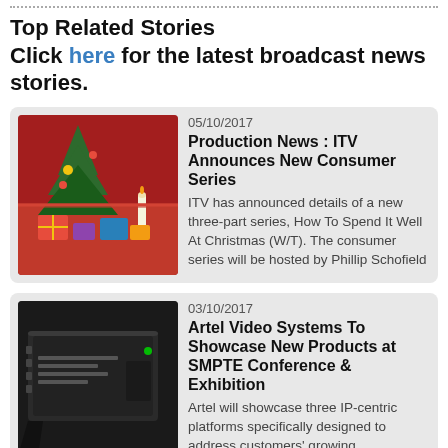Top Related Stories
Click here for the latest broadcast news stories.
05/10/2017
Production News : ITV Announces New Consumer Series
ITV has announced details of a new three-part series, How To Spend It Well At Christmas (W/T). The consumer series will be hosted by Phillip Schofield
03/10/2017
Artel Video Systems To Showcase New Products at SMPTE Conference & Exhibition
Artel will showcase three IP-centric platforms specifically designed to address customers' growing requirements as they migrate from direct fiber to a